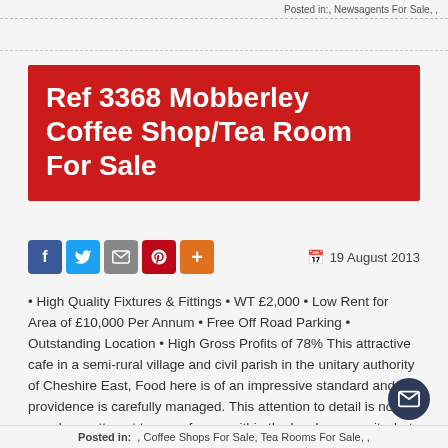Posted in:, Newsagents For Sale, ,
Ref 3368 Mobberley Coffee Shop/Tea Room For Sale
19 August 2013
• High Quality Fixtures & Fittings • WT £2,000 • Low Rent for Area of £10,000 Per Annum • Free Off Road Parking • Outstanding Location • High Gross Profits of 78% This attractive cafe in a semi-rural village and civil parish in the unitary authority of Cheshire East, Food here is of an impressive standard and providence is carefully managed. This attention to detail is not merely an attempt to carry favour within the local community, but delivers very healthy gross profits of approx 78%.he businesses development ov.....Read More
Posted in:, Coffee Shops For Sale, Tea Rooms For Sale, ,